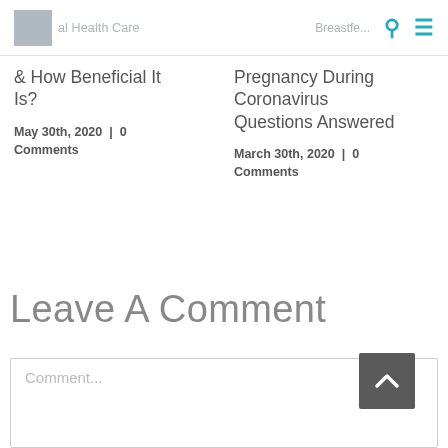al Health Care ... Breastfeeding ...
& How Beneficial It Is?
May 30th, 2020  |  0 Comments
Pregnancy During Coronavirus Questions Answered
March 30th, 2020  |  0 Comments
Leave A Comment
Comment...